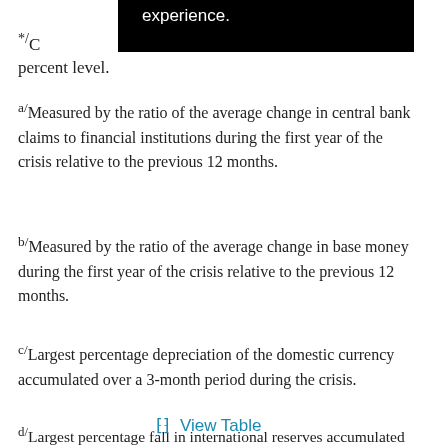C[...] ...g percent level.
a/ Measured by the ratio of the average change in central bank claims to financial institutions during the first year of the crisis relative to the previous 12 months.
b/ Measured by the ratio of the average change in base money during the first year of the crisis relative to the previous 12 months.
c/ Largest percentage depreciation of the domestic currency accumulated over a 3-month period during the crisis.
d/ Largest percentage fall in international reserves accumulated over a 3-month period during the crisis.
View Table